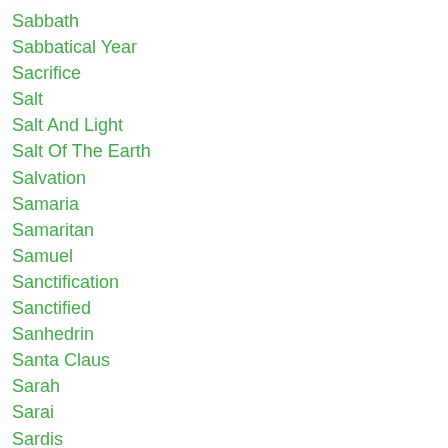Sabbath
Sabbatical Year
Sacrifice
Salt
Salt And Light
Salt Of The Earth
Salvation
Samaria
Samaritan
Samuel
Sanctification
Sanctified
Sanhedrin
Santa Claus
Sarah
Sarai
Sardis
Satan
Saul
Saved
Saved By Christ